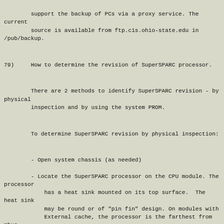support the backup of PCs via a proxy service. The current
        source is available from ftp.cis.ohio-state.edu in /pub/backup.
79)     How to determine the revision of SuperSPARC processor.
There are 2 methods to identify SuperSPARC revision - by physical
        inspection and by using the system PROM.
To determine SuperSPARC revision by physical inspection:
- Open system chassis (as needed)
- Locate the SuperSPARC processor on the CPU module. The processor
            has a heat sink mounted on its top surface.  The heat sink
            may be round or of "pin fin" design. On modules with
            External cache, the processor is the farthest from mbus
            connector.
- 4 lines of alpha-numeric text are written on the top
            right corner of the processor. The
            second line contains the